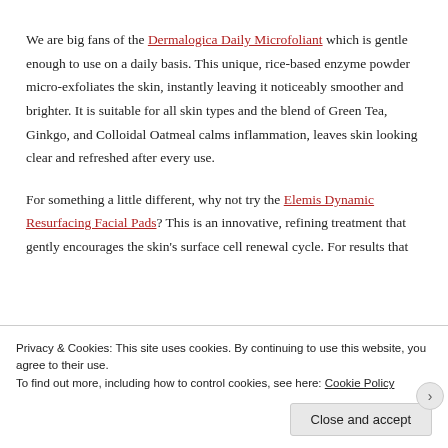We are big fans of the Dermalogica Daily Microfoliant which is gentle enough to use on a daily basis. This unique, rice-based enzyme powder micro-exfoliates the skin, instantly leaving it noticeably smoother and brighter. It is suitable for all skin types and the blend of Green Tea, Ginkgo, and Colloidal Oatmeal calms inflammation, leaves skin looking clear and refreshed after every use.
For something a little different, why not try the Elemis Dynamic Resurfacing Facial Pads? This is an innovative, refining treatment that gently encourages the skin's surface cell renewal cycle. For results that
Privacy & Cookies: This site uses cookies. By continuing to use this website, you agree to their use.
To find out more, including how to control cookies, see here: Cookie Policy